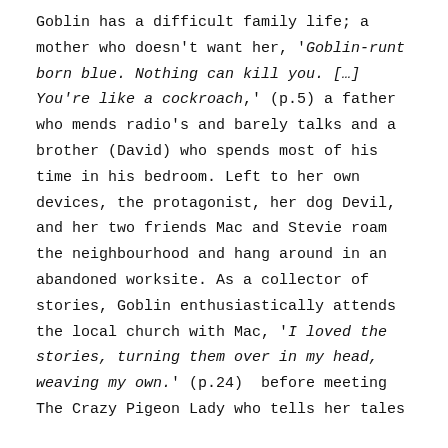Goblin has a difficult family life; a mother who doesn't want her, 'Goblin-runt born blue. Nothing can kill you. […] You're like a cockroach,' (p.5) a father who mends radio's and barely talks and a brother (David) who spends most of his time in his bedroom. Left to her own devices, the protagonist, her dog Devil, and her two friends Mac and Stevie roam the neighbourhood and hang around in an abandoned worksite. As a collector of stories, Goblin enthusiastically attends the local church with Mac, 'I loved the stories, turning them over in my head, weaving my own.' (p.24)  before meeting The Crazy Pigeon Lady who tells her tales